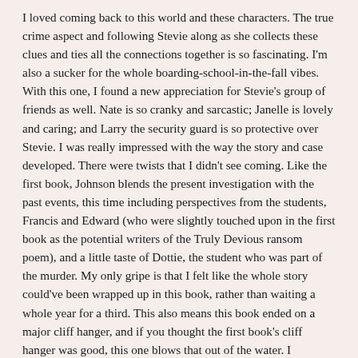I loved coming back to this world and these characters. The true crime aspect and following Stevie along as she collects these clues and ties all the connections together is so fascinating. I'm also a sucker for the whole boarding-school-in-the-fall vibes. With this one, I found a new appreciation for Stevie's group of friends as well. Nate is so cranky and sarcastic; Janelle is lovely and caring; and Larry the security guard is so protective over Stevie. I was really impressed with the way the story and case developed. There were twists that I didn't see coming. Like the first book, Johnson blends the present investigation with the past events, this time including perspectives from the students, Francis and Edward (who were slightly touched upon in the first book as the potential writers of the Truly Devious ransom poem), and a little taste of Dottie, the student who was part of the murder. My only gripe is that I felt like the whole story could've been wrapped up in this book, rather than waiting a whole year for a third. This also means this book ended on a major cliff hanger, and if you thought the first book's cliff hanger was good, this one blows that out of the water. I seriously need the next book ASAP. If you're looking for a little mystery in your life, check this series out!
Rating: 4.5/5